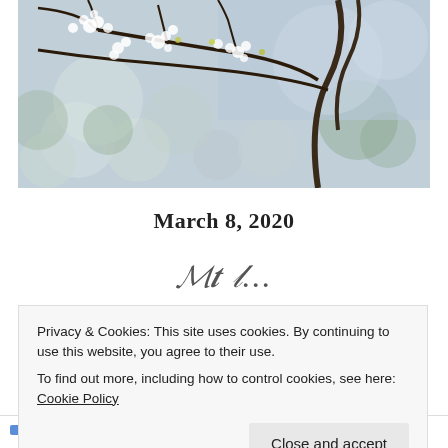[Figure (photo): Close-up photo of white cherry blossoms on tree branches with a blurred bokeh background of greens, blues, and whites.]
March 8, 2020
The l...
Privacy & Cookies: This site uses cookies. By continuing to use this website, you agree to their use.
To find out more, including how to control cookies, see here: Cookie Policy
Close and accept